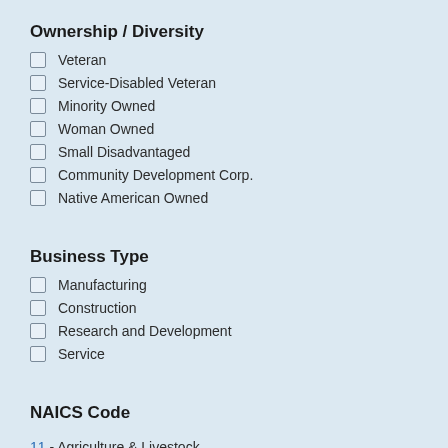Ownership / Diversity
Veteran
Service-Disabled Veteran
Minority Owned
Woman Owned
Small Disadvantaged
Community Development Corp.
Native American Owned
Business Type
Manufacturing
Construction
Research and Development
Service
NAICS Code
11 - Agriculture & Livestock